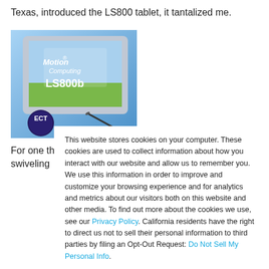Texas, introduced the LS800 tablet, it tantalized me.
[Figure (photo): Motion Computing LS800b tablet product image with ECT logo in the bottom left corner]
For one thing, it's a real tablet, not a laptop with a swiveling
This website stores cookies on your computer. These cookies are used to collect information about how you interact with our website and allow us to remember you. We use this information in order to improve and customize your browsing experience and for analytics and metrics about our visitors both on this website and other media. To find out more about the cookies we use, see our Privacy Policy. California residents have the right to direct us not to sell their personal information to third parties by filing an Opt-Out Request: Do Not Sell My Personal Info.
Accept